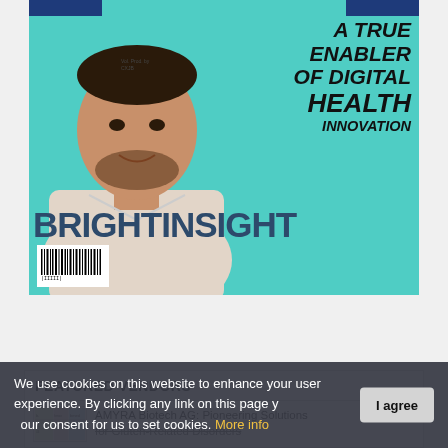[Figure (photo): Magazine cover for BrightInsight featuring a smiling man in a white shirt against a teal background, with the tagline 'A True Enabler of Digital Health Innovation' and the BrightInsight brand name in large bold letters. Blue accent bars at top corners and a barcode at bottom left.]
FEATURED VENDORS
AMYRA Biotech AG: Pioneering Solutions for Gluten-Related Disorders
We use cookies on this website to enhance your user experience. By clicking any link on this page you give your consent for us to set cookies. More info